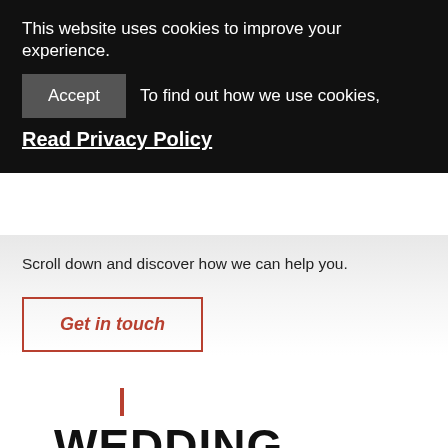This website uses cookies to improve your experience.
Accept   To find out how we use cookies,
Read Privacy Policy
Scroll down and discover how we can help you.
Get in touch
WEDDING CATERING
Let us amaze you on your special day
It is important to us that you feel proud about